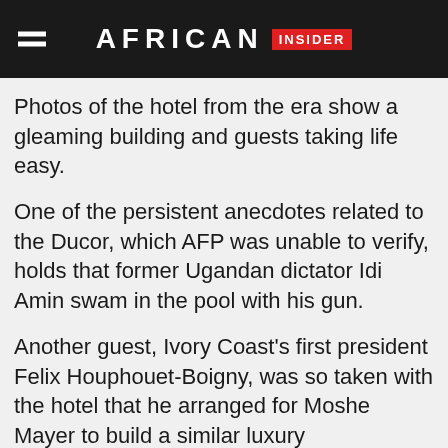AFRICAN INSIDER
Photos of the hotel from the era show a gleaming building and guests taking life easy.
One of the persistent anecdotes related to the Ducor, which AFP was unable to verify, holds that former Ugandan dictator Idi Amin swam in the pool with his gun.
Another guest, Ivory Coast's first president Felix Houphouet-Boigny, was so taken with the hotel that he arranged for Moshe Mayer to build a similar luxury establishment in Abidjan, which is still in operation.
We only use cookies on this Site for particular features to work, the cookies do not collect and/or store any personal information about you.